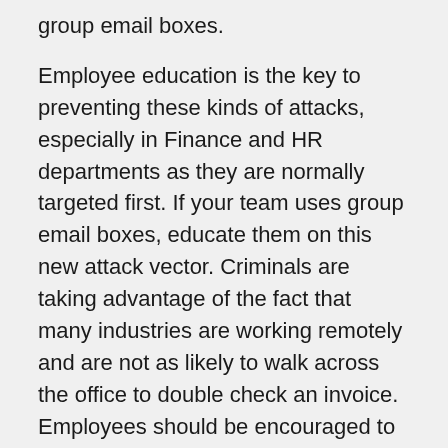group email boxes.
Employee education is the key to preventing these kinds of attacks, especially in Finance and HR departments as they are normally targeted first. If your team uses group email boxes, educate them on this new attack vector. Criminals are taking advantage of the fact that many industries are working remotely and are not as likely to walk across the office to double check an invoice. Employees should be encouraged to confirm requests for money, especially if they are out of the ordinary.
Most email clients offer two-factor authentication, but this feature is not always turned on by default. With the increase in BEC attacks we saw over the summer, and now criminals targeting group email boxes, the threat is not slowing down. Two-factor authentication is a good first step in defending your business email against increased interested from